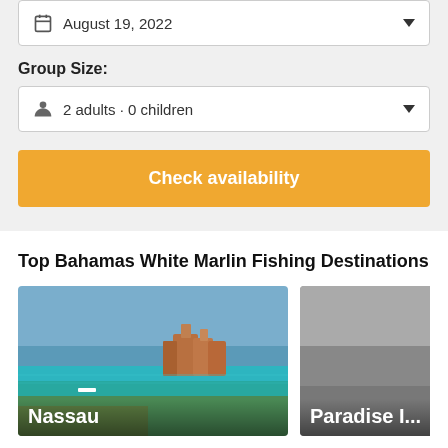August 19, 2022
Group Size:
2 adults · 0 children
Check availability
Top Bahamas White Marlin Fishing Destinations
[Figure (photo): Photo of Nassau, Bahamas waterfront with turquoise water and resort buildings]
Nassau
[Figure (photo): Photo of Paradise Island, partially visible, gray-toned]
Paradise I...